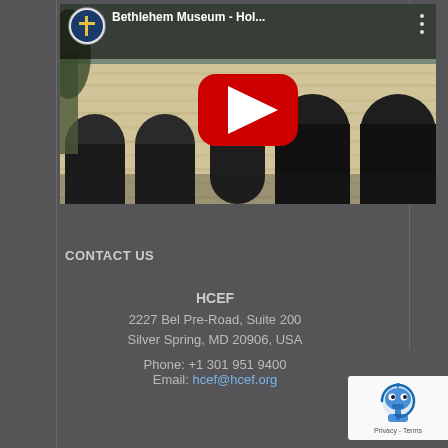[Figure (screenshot): YouTube video thumbnail showing 'Bethlehem Museum - Hol...' with a YouTube play button overlay on an image of a stone building with arched windows. A circular logo icon appears in the top-left corner and three dots menu in top-right.]
CONTACT US
HCEF
2227 Bel Pre-Road, Suite 200
Silver Spring, MD 20906, USA

Phone: +1 301 951 9400
Email: hcef@hcef.org
[Figure (logo): reCAPTCHA badge with robot icon and 'Privacy - Terms' text on white background]